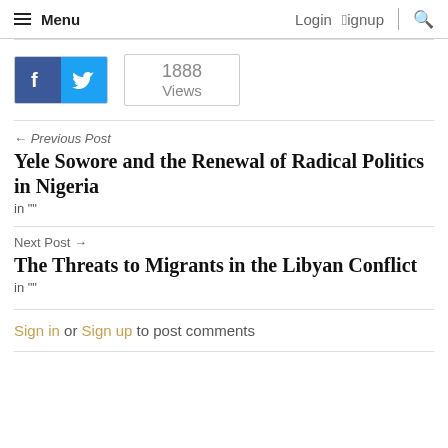Menu   Login  Signup  🔍
[Figure (other): Facebook and Twitter social share icons side by side, followed by a views count box showing 1888 Views]
← Previous Post
Yele Sowore and the Renewal of Radical Politics in Nigeria
in ""
Next Post →
The Threats to Migrants in the Libyan Conflict
in ""
Sign in or Sign up to post comments